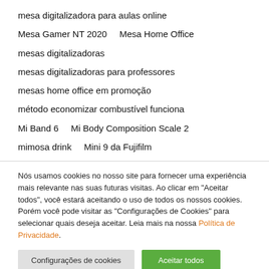mesa digitalizadora para aulas online
Mesa Gamer NT 2020    Mesa Home Office
mesas digitalizadoras
mesas digitalizadoras para professores
mesas home office em promoção
método economizar combustível funciona
Mi Band 6    Mi Body Composition Scale 2
mimosa drink    Mini 9 da Fujifilm
Nós usamos cookies no nosso site para fornecer uma experiência mais relevante nas suas futuras visitas. Ao clicar em "Aceitar todos", você estará aceitando o uso de todos os nossos cookies. Porém você pode visitar as "Configurações de Cookies" para selecionar quais deseja aceitar. Leia mais na nossa Política de Privacidade.
Configurações de cookies  Aceitar todos